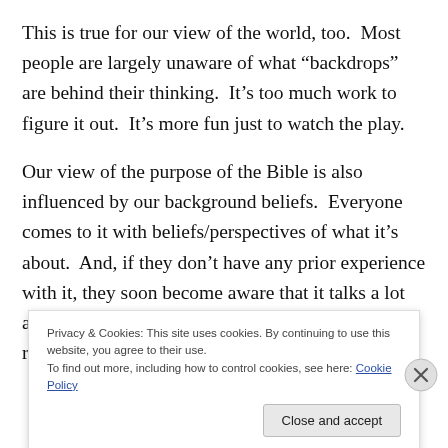This is true for our view of the world, too.  Most people are largely unaware of what “backdrops” are behind their thinking.  It’s too much work to figure it out.  It’s more fun just to watch the play.
Our view of the purpose of the Bible is also influenced by our background beliefs.  Everyone comes to it with beliefs/perspectives of what it’s about.  And, if they don’t have any prior experience with it, they soon become aware that it talks a lot about commands, God, promises, war, sex, death, resurrection, angels and other “religious
Privacy & Cookies: This site uses cookies. By continuing to use this website, you agree to their use.
To find out more, including how to control cookies, see here: Cookie Policy
Close and accept